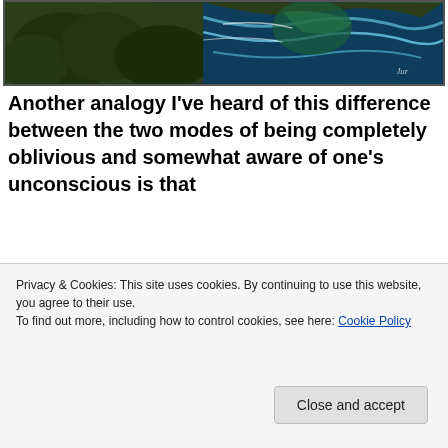[Figure (photo): Partial view of a painting or digital artwork showing green foliage and swirling ocean waves in dark green and blue tones]
Another analogy I've heard of this difference between the two modes of being completely oblivious and somewhat aware of one's unconscious is that
[Figure (photo): Beach scene with multiple thatched straw huts/umbrellas along a shoreline with blue sky and calm ocean water in the background]
Privacy & Cookies: This site uses cookies. By continuing to use this website, you agree to their use.
To find out more, including how to control cookies, see here: Cookie Policy
Close and accept